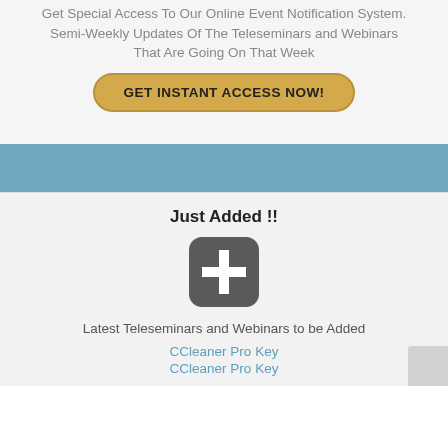Get Special Access To Our Online Event Notification System. Semi-Weekly Updates Of The Teleseminars and Webinars That Are Going On That Week
[Figure (other): Yellow rounded button labeled GET INSTANT ACCESS NOW!]
[Figure (other): Blue horizontal banner bar]
Just Added !!
[Figure (other): Dark rounded square icon with white plus sign]
Latest Teleseminars and Webinars to be Added
CCleaner Pro Key
CCleaner Pro Key